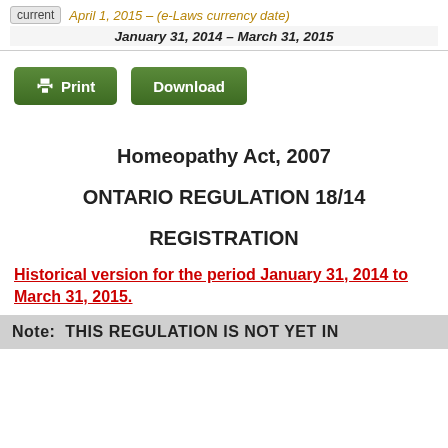current  April 1, 2015 – (e-Laws currency date)
January 31, 2014 – March 31, 2015
Print
Download
Homeopathy Act, 2007
ONTARIO REGULATION 18/14
REGISTRATION
Historical version for the period January 31, 2014 to March 31, 2015.
Note:  THIS REGULATION IS NOT YET IN